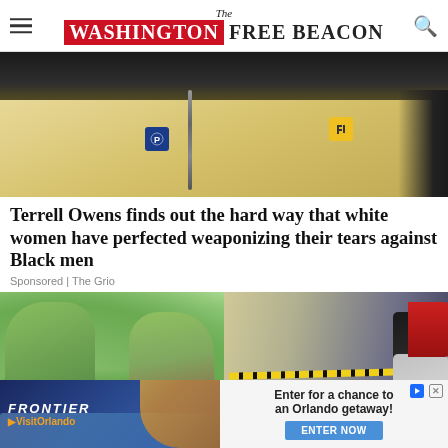The Washington Free Beacon
[Figure (photo): Close-up photo of a person wearing a yellow/cream blazer with a blue badge pin and yellow pin, dark chain necklace visible, dark background at top]
Terrell Owens finds out the hard way that white women have perfected weaponizing their tears against Black men
Sponsored | The Grio
[Figure (photo): Two green-skinned characters (She-Hulk style) facing each other closely in a tropical outdoor setting]
[Figure (photo): Crime scene photo showing police tape and figures on a street]
Ginger Gonzaga Tee Up…
Sponsored | Shadow and Act
t Miserable erica (Based on U.S. Census Data)
Sponsored | New Arena
[Figure (screenshot): Advertisement banner: Frontier/VisitOrlando ad on left, Enter for a chance to win an Orlando getaway ad on right with ENTER NOW button]